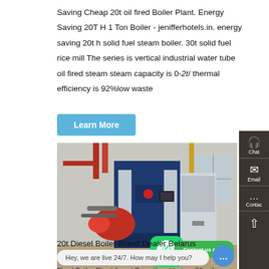Saving Cheap 20t oil fired Boiler Plant. Energy Saving 20T H 1 Ton Boiler - jenifferhotels.in. energy saving 20t h solid fuel steam boiler. 30t solid fuel rice mill The series is vertical industrial water tube oil fired steam steam capacity is 0-2t/ thermal efficiency is 92%low waste
[Figure (other): Blue industrial steam boiler unit with red burner attachment in a factory/warehouse setting, with WhatsApp icon and 'Contact us now!' green button overlay]
20t Diesel Boiler Brand Dealer Belarus
Price 20t Oil Boil... Bi...
Fired Boiler Plant Agent Price Kazakhstan. 20t oil gas fired boiler...